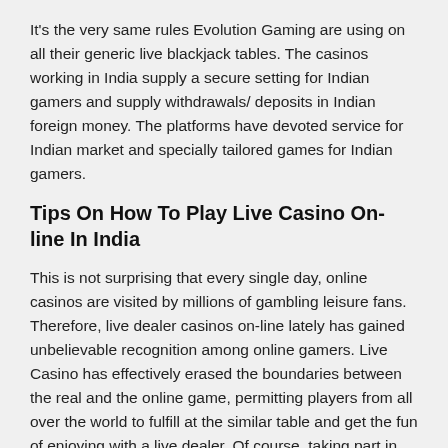It's the very same rules Evolution Gaming are using on all their generic live blackjack tables. The casinos working in India supply a secure setting for Indian gamers and supply withdrawals/ deposits in Indian foreign money. The platforms have devoted service for Indian market and specially tailored games for Indian gamers.
Tips On How To Play Live Casino On-line In India
This is not surprising that every single day, online casinos are visited by millions of gambling leisure fans. Therefore, live dealer casinos on-line lately has gained unbelievable recognition among online gamers. Live Casino has effectively erased the boundaries between the real and the online game, permitting players from all over the world to fulfill at the similar table and get the fun of enjoying with a live dealer. Of course, taking part in online at real cash